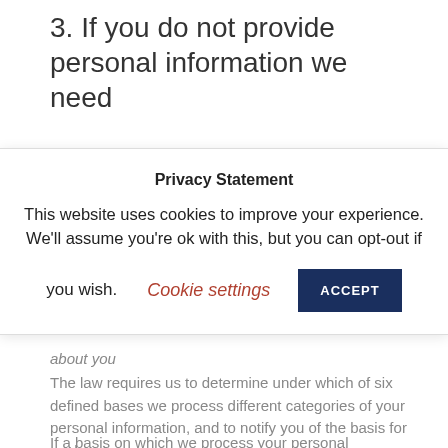3. If you do not provide personal information we need
Where we need to collect personal data by law, or
[Figure (screenshot): Cookie consent banner overlay with title 'Privacy Statement', body text 'This website uses cookies to improve your experience. We'll assume you're ok with this, but you can opt-out if you wish.', a 'Cookie settings' link in red/brown, and an 'ACCEPT' button in dark navy blue.]
about you
The law requires us to determine under which of six defined bases we process different categories of your personal information, and to notify you of the basis for each category.
If a basis on which we process your personal